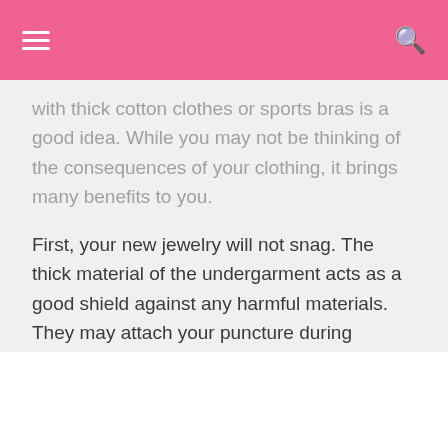with thick cotton clothes or sports bras is a good idea. While you may not be thinking of the consequences of your clothing, it brings many benefits to you.
First, your new jewelry will not snag. The thick material of the undergarment acts as a good shield against any harmful materials. They may attach your puncture during exercise or playing sport in some cases.